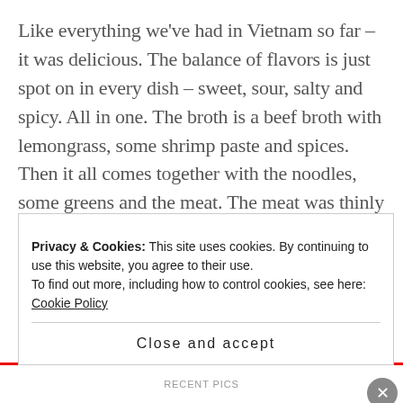Like everything we've had in Vietnam so far – it was delicious. The balance of flavors is just spot on in every dish – sweet, sour, salty and spicy. All in one. The broth is a beef broth with lemongrass, some shrimp paste and spices. Then it all comes together with the noodles, some greens and the meat. The meat was thinly sliced pieces of beef, a meatball looking thing that I had no idea what it was and then cubes of congealed pig's blood. I know, I know – sounds gross – but it wasn't at all.
Privacy & Cookies: This site uses cookies. By continuing to use this website, you agree to their use.
To find out more, including how to control cookies, see here: Cookie Policy
Close and accept